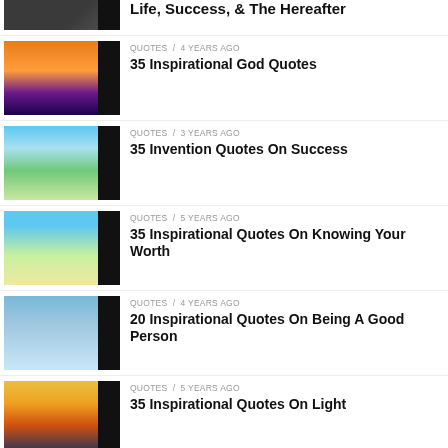Life, Success, & The Hereafter
QUOTES / 4 years ago
35 Inspirational God Quotes
QUOTES / 3 years ago
35 Invention Quotes On Success
QUOTES / 5 years ago
35 Inspirational Quotes On Knowing Your Worth
QUOTES / 4 years ago
20 Inspirational Quotes On Being A Good Person
QUOTES / 5 years ago
35 Inspirational Quotes On Light
QUOTES / 5 years ago
35 Inspirational Quotes On Patience